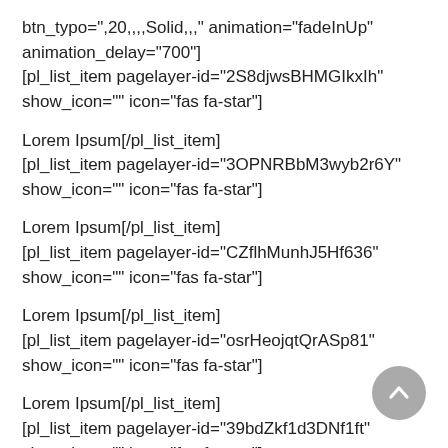btn_typo=",20,,,,Solid,,," animation="fadeInUp" animation_delay="700"] [pl_list_item pagelayer-id="2S8djwsBHMGIkxIh" show_icon="" icon="fas fa-star"]
Lorem Ipsum[/pl_list_item] [pl_list_item pagelayer-id="3OPNRBbM3wyb2r6Y" show_icon="" icon="fas fa-star"]
Lorem Ipsum[/pl_list_item] [pl_list_item pagelayer-id="CZflhMunhJ5Hf636" show_icon="" icon="fas fa-star"]
Lorem Ipsum[/pl_list_item] [pl_list_item pagelayer-id="osrHeojqtQrASp81" show_icon="" icon="fas fa-star"]
Lorem Ipsum[/pl_list_item] [pl_list_item pagelayer-id="39bdZkf1d3DNf1ft" show_icon="" icon="fas fa-star"]